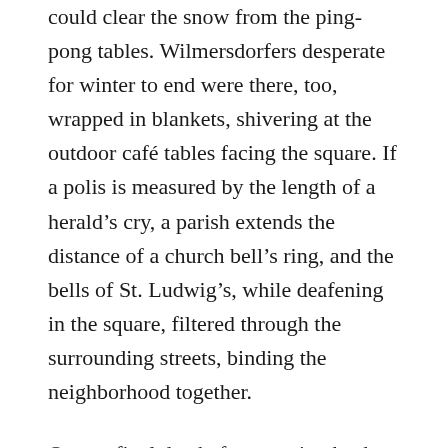could clear the snow from the ping-pong tables. Wilmersdorfers desperate for winter to end were there, too, wrapped in blankets, shivering at the outdoor café tables facing the square. If a polis is measured by the length of a herald's cry, a parish extends the distance of a church bell's ring, and the bells of St. Ludwig's, while deafening in the square, filtered through the surrounding streets, binding the neighborhood together.
On our final day before moving back to New York, one of those cruelly perfect, sun-kissed summer Sundays in Berlin, my older son and